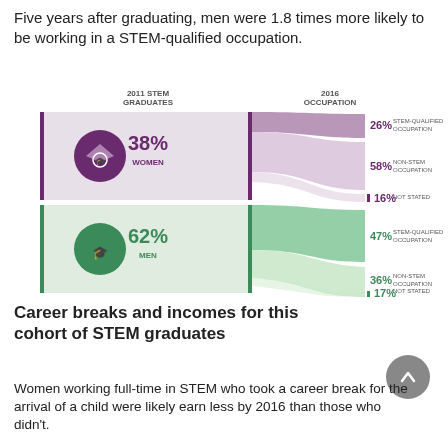Five years after graduating, men were 1.8 times more likely to be working in a STEM-qualified occupation.
[Figure (infographic): Sankey/flow diagram showing 2011 STEM graduates split by gender (38% Women, 62% Men) flowing into 2016 occupation categories. Women: 26% STEM-qualified, 58% Non-STEM, 16% Not stated. Men: 47% STEM-qualified, 36% Non-STEM, 17% Not stated.]
Career breaks and incomes for this cohort of STEM graduates
Women working full-time in STEM who took a career break for the arrival of a child were likely earn less by 2016 than those who didn't.